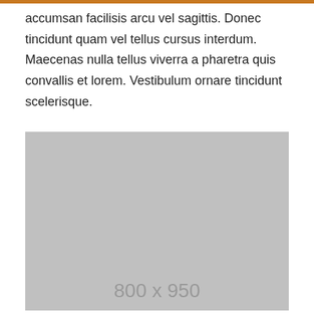accumsan facilisis arcu vel sagittis. Donec tincidunt quam vel tellus cursus interdum. Maecenas nulla tellus viverra a pharetra quis convallis et lorem. Vestibulum ornare tincidunt scelerisque.
[Figure (illustration): Gray placeholder image box with dimensions label '800 x 950' displayed in gray text at the bottom center.]